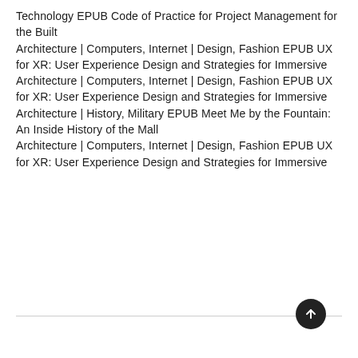Technology EPUB Code of Practice for Project Management for the Built
Architecture | Computers, Internet | Design, Fashion EPUB UX for XR: User Experience Design and Strategies for Immersive
Architecture | Computers, Internet | Design, Fashion EPUB UX for XR: User Experience Design and Strategies for Immersive
Architecture | History, Military EPUB Meet Me by the Fountain: An Inside History of the Mall
Architecture | Computers, Internet | Design, Fashion EPUB UX for XR: User Experience Design and Strategies for Immersive